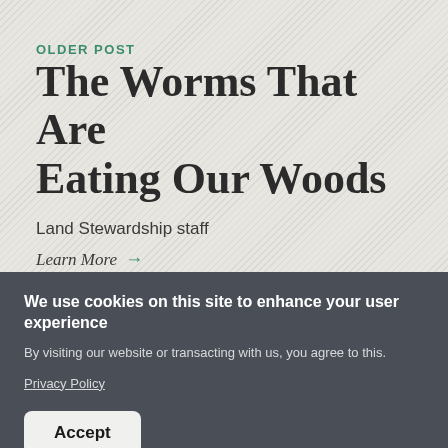OLDER POST
The Worms That Are Eating Our Woods
Land Stewardship staff
Learn More →
We use cookies on this site to enhance your user experience
By visiting our website or transacting with us, you agree to this.
Privacy Policy
Accept